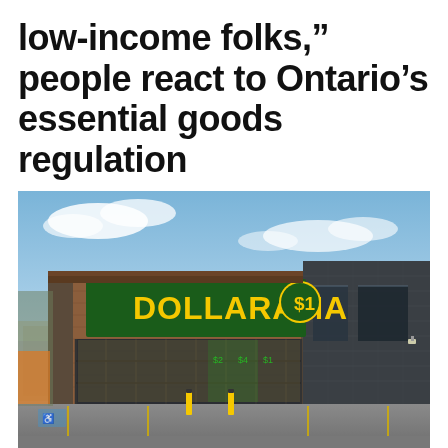low-income folks,” people react to Ontario’s essential goods regulation
[Figure (photo): Exterior photograph of a Dollarama store with yellow signage reading 'DOLLARAMA $1' on a green and brown brick facade, with a large empty parking lot in the foreground under a partly cloudy sky.]